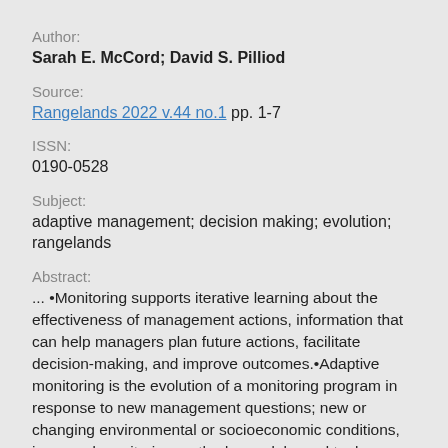Author:
Sarah E. McCord; David S. Pilliod
Source:
Rangelands 2022 v.44 no.1 pp. 1-7
ISSN:
0190-0528
Subject:
adaptive management; decision making; evolution; rangelands
Abstract:
... •Monitoring supports iterative learning about the effectiveness of management actions, information that can help managers plan future actions, facilitate decision-making, and improve outcomes.•Adaptive monitoring is the evolution of a monitoring program in response to new management questions; new or changing environmental or socioeconomic conditions, improved monitoring methods, models, and tools ...